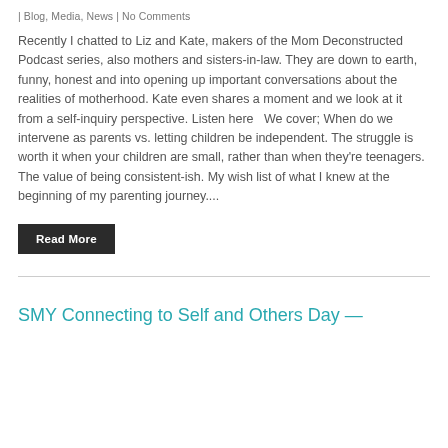| Blog, Media, News | No Comments
Recently I chatted to Liz and Kate, makers of the Mom Deconstructed Podcast series, also mothers and sisters-in-law. They are down to earth, funny, honest and into opening up important conversations about the realities of motherhood. Kate even shares a moment and we look at it from a self-inquiry perspective. Listen here   We cover; When do we intervene as parents vs. letting children be independent. The struggle is worth it when your children are small, rather than when they're teenagers. The value of being consistent-ish. My wish list of what I knew at the beginning of my parenting journey....
Read More
SMY Connecting to Self and Others Day —